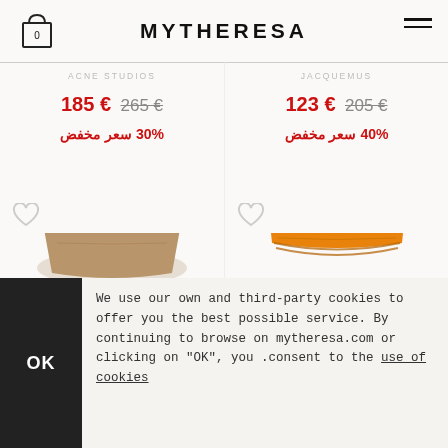MYTHERESA
ACNE STUDIOS
JACQUEMUS
185 € 265 €
30% سعر مخفض
123 € 205 €
40% سعر مخفض
[Figure (photo): Brown/taupe knit sweater with mock neck on cream background]
[Figure (photo): Orange/amber knit crop sweater on cream background]
We use our own and third-party cookies to offer you the best possible service. By continuing to browse on mytheresa.com or clicking on "OK", you consent to the use of cookies.